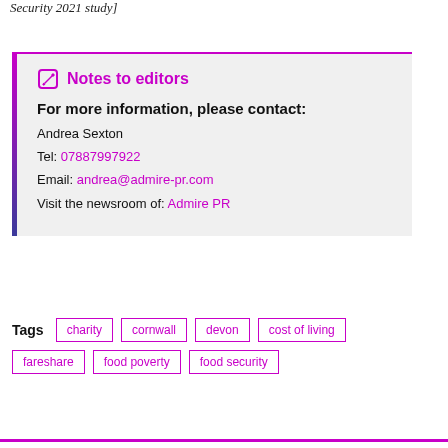Security 2021 study]
Notes to editors
For more information, please contact:
Andrea Sexton
Tel: 07887997922
Email: andrea@admire-pr.com
Visit the newsroom of: Admire PR
charity
cornwall
devon
cost of living
fareshare
food poverty
food security